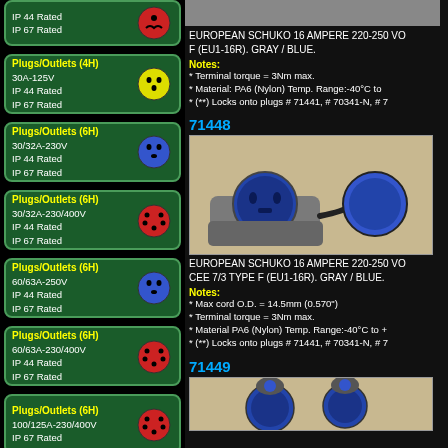IP 44 Rated
IP 67 Rated
Plugs/Outlets (4H)
30A-125V
IP 44 Rated
IP 67 Rated
Plugs/Outlets (6H)
30/32A-230V
IP 44 Rated
IP 67 Rated
Plugs/Outlets (6H)
30/32A-230/400V
IP 44 Rated
IP 67 Rated
Plugs/Outlets (6H)
60/63A-250V
IP 44 Rated
IP 67 Rated
Plugs/Outlets (6H)
60/63A-230/400V
IP 44 Rated
IP 67 Rated
Plugs/Outlets (6H)
100/125A-230/400V
IP 67 Rated
Select Items
EUROPEAN SCHUKO 16 AMPERE 220-250 VO F (EU1-16R). GRAY / BLUE.
Notes:
* Terminal torque = 3Nm max.
* Material: PA6 (Nylon) Temp. Range:-40°C to
* (**) Locks onto plugs # 71441, # 70341-N, # 7
71448
[Figure (photo): European Schuko 16A connector with gray housing and blue outlet face, cord connected to a separate blue cap/cover]
EUROPEAN SCHUKO 16 AMPERE 220-250 VO CEE 7/3 TYPE F (EU1-16R). GRAY / BLUE.
Notes:
* Max cord O.D. = 14.5mm (0.570")
* Terminal torque = 3Nm max.
* Material PA6 (Nylon) Temp. Range:-40°C to +
* (**) Locks onto plugs # 71441, # 70341-N, # 7
71449
[Figure (photo): Partial view of European Schuko connectors with blue faces and gray caps, product 71449]